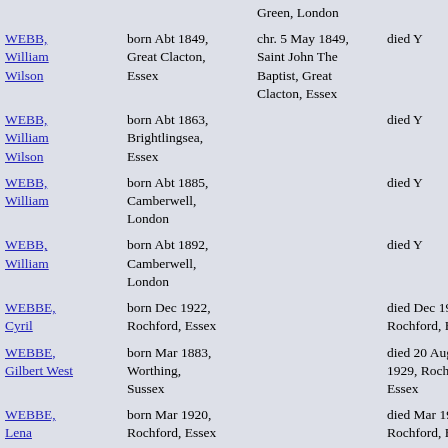| Name | Birth | Christening | Death |
| --- | --- | --- | --- |
| WEBB, William Wilson | born Abt 1849, Great Clacton, Essex | chr. 5 May 1849, Saint John The Baptist, Great Clacton, Essex | died Y |
| WEBB, William Wilson | born Abt 1863, Brightlingsea, Essex |  | died Y |
| WEBB, William | born Abt 1885, Camberwell, London |  | died Y |
| WEBB, William | born Abt 1892, Camberwell, London |  | died Y |
| WEBBE, Cyril | born Dec 1922, Rochford, Essex |  | died Dec 1922, Rochford, Essex |
| WEBBE, Gilbert West | born Mar 1883, Worthing, Sussex |  | died 20 Aug 1929, Rochford, Essex |
| WEBBE, Lena | born Mar 1920, Rochford, Essex |  | died Mar 1920, Rochford, Essex |
| WEBBE, Monica M. | born Mar 1921, Rochford, Essex |  | died Y |
| WEBBE, | born Cir 1515, |  |  |